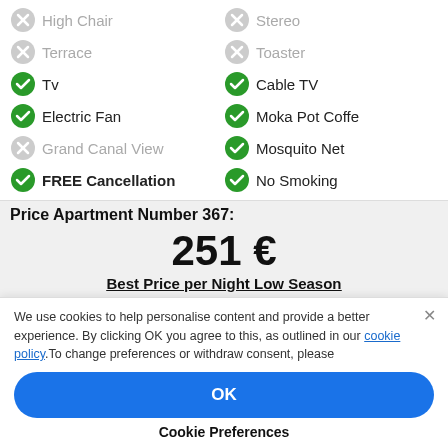High Chair (unavailable)
Stereo (unavailable)
Terrace (unavailable)
Toaster (unavailable)
Tv (available)
Cable TV (available)
Electric Fan (available)
Moka Pot Coffe (available)
Grand Canal View (unavailable)
Mosquito Net (available)
FREE Cancellation (available)
No Smoking (available)
Price Apartment Number 367:
251 €
Best Price per Night Low Season
VIEW SEASON CALENDAR
We use cookies to help personalise content and provide a better experience. By clicking OK you agree to this, as outlined in our cookie policy.To change preferences or withdraw consent, please
OK
Cookie Preferences